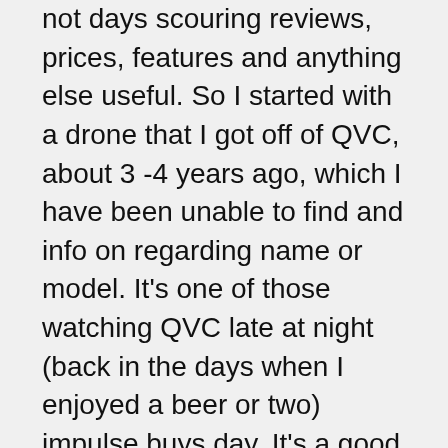not days scouring reviews, prices, features and anything else useful. So I started with a drone that I got off of QVC, about 3 -4 years ago, which I have been unable to find and info on regarding name or model. It's one of those watching QVC late at night (back in the days when I enjoyed a beer or two) impulse buys day. It's a good drone, especially for just starting out. No real features but it did take video. But the one that has absolutely got me into it is one that my son actually got for Christmas 2 years ago from Santa. And believe me, Santa did his research. It's the drone that I actually lost yesterday. Honestly though, it doesn't bother me terribly. It was much bigger than